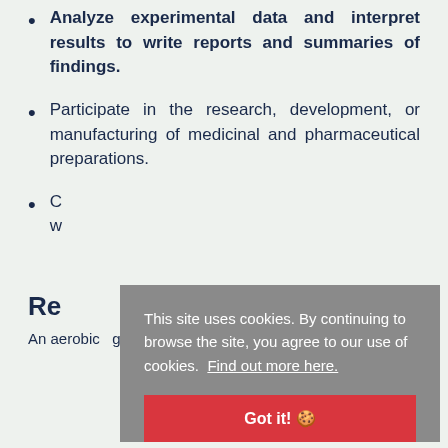Analyze experimental data and interpret results to write reports and summaries of findings.
Participate in the research, development, or manufacturing of medicinal and pharmaceutical preparations.
C... w...
Re...
An aerobic growth chambers... Full fea...